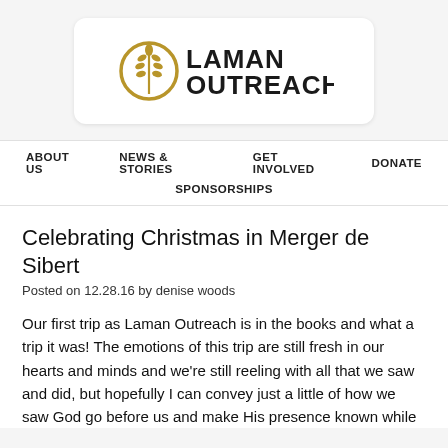[Figure (logo): Laman Outreach logo: wheat stalk in a circle on the left, bold text LAMAN OUTREACH on the right]
ABOUT US   NEWS & STORIES   GET INVOLVED   DONATE   SPONSORSHIPS
Celebrating Christmas in Merger de Sibert
Posted on 12.28.16 by denise woods
Our first trip as Laman Outreach is in the books and what a trip it was! The emotions of this trip are still fresh in our hearts and minds and we're still reeling with all that we saw and did, but hopefully I can convey just a little of how we saw God go before us and make His presence known while